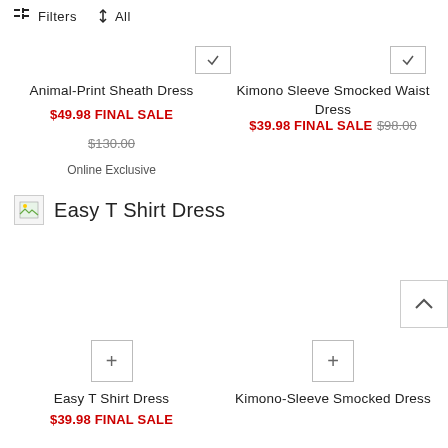Filters   ↕ All
Animal-Print Sheath Dress
$49.98 FINAL SALE  $130.00  Online Exclusive
Kimono Sleeve Smocked Waist Dress
$39.98 FINAL SALE  $98.00
[Figure (other): Broken image placeholder for Easy T Shirt Dress]
Easy T Shirt Dress
Easy T Shirt Dress
$39.98 FINAL SALE
Kimono-Sleeve Smocked Dress